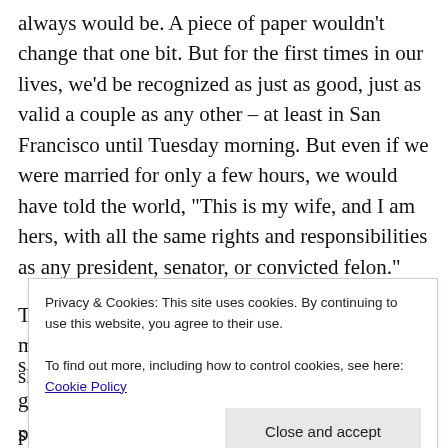always would be. A piece of paper wouldn't change that one bit. But for the first times in our lives, we'd be recognized as just as good, just as valid a couple as any other – at least in San Francisco until Tuesday morning. But even if we were married for only a few hours, we would have told the world, “This is my wife, and I am hers, with all the same rights and responsibilities as any president, senator, or convicted felon.”
Traf prodded me out of my stupor at five in the morning. It was still very dark, and the rain showed no
Privacy & Cookies: This site uses cookies. By continuing to use this website, you agree to their use.
To find out more, including how to control cookies, see here: Cookie Policy
parking all around me, getting up for their early